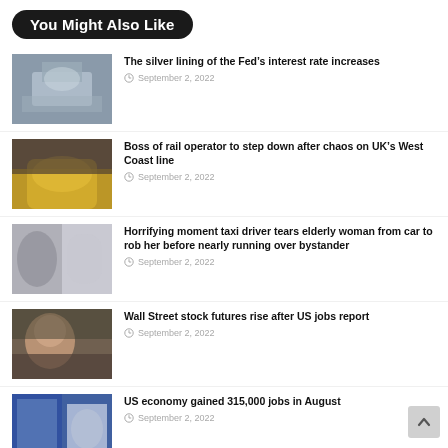You Might Also Like
The silver lining of the Fed’s interest rate increases
September 2, 2022
Boss of rail operator to step down after chaos on UK’s West Coast line
September 2, 2022
Horrifying moment taxi driver tears elderly woman from car to rob her before nearly running over bystander
September 2, 2022
Wall Street stock futures rise after US jobs report
September 2, 2022
US economy gained 315,000 jobs in August
September 2, 2022